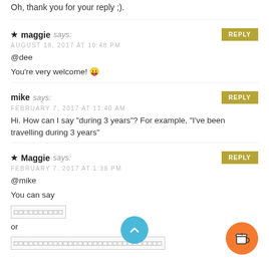Oh, thank you for your reply ;).
maggie says:
AUGUST 18, 2017 AT 10:48 PM
@dee

You're very welcome! 😛
mike says:
FEBRUARY 7, 2017 AT 11:40 AM
Hi. How can I say "during 3 years"? For example, "I've been travelling during 3 years"
Maggie says:
FEBRUARY 7, 2017 AT 1:38 PM
@mike
You can say
[box text]
or
[box text longer]